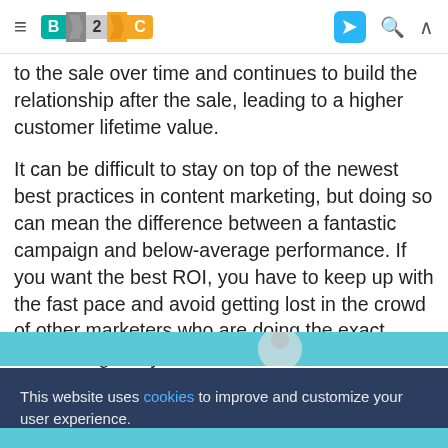B2C [nav bar with logo, telegram icon, search, and chevron]
to the sale over time and continues to build the relationship after the sale, leading to a higher customer lifetime value.
It can be difficult to stay on top of the newest best practices in content marketing, but doing so can mean the difference between a fantastic campaign and below-average performance. If you want the best ROI, you have to keep up with the fast pace and avoid getting lost in the crowd of other marketers who are doing the exact same things as you!
This website uses cookies to improve and customize your user experience.
Reject
Accept